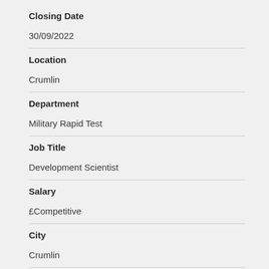Closing Date
30/09/2022
Location
Crumlin
Department
Military Rapid Test
Job Title
Development Scientist
Salary
£Competitive
City
Crumlin
Country
Crumlin, South Wales